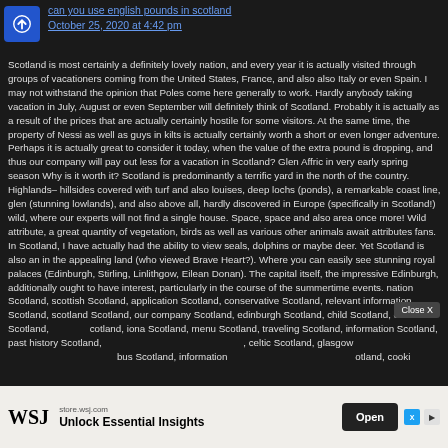can you use english pounds in scotland
October 25, 2020 at 4:42 pm
Scotland is most certainly a definitely lovely nation, and every year it is actually visited through groups of vacationers coming from the United States, France, and also also Italy or even Spain. I may not withstand the opinion that Poles come here generally to work. Hardly anybody taking vacation in July, August or even September will definitely think of Scotland. Probably it is actually as a result of the prices that are actually certainly hostile for some visitors. At the same time, the property of Nessi as well as guys in kilts is actually certainly worth a short or even longer adventure. Perhaps it is actually great to consider it today, when the value of the extra pound is dropping, and thus our company will pay out less for a vacation in Scotland? Glen Affric in very early spring season Why is it worth it? Scotland is predominantly a terrific yard in the north of the country. Highlands– hillsides covered with turf and also louises, deep lochs (ponds), a remarkable coast line, glen (stunning lowlands), and also above all, hardly discovered in Europe (specifically in Scotland!) wild, where our experts will not find a single house. Space, space and also area once more! Wild attribute, a great quantity of vegetation, birds as well as various other animals await attributes fans. In Scotland, I have actually had the ability to view seals, dolphins or maybe deer. Yet Scotland is also an in the appealing land (who viewed Brave Heart?). Where you can easily see stunning royal palaces (Edinburgh, Stirling, Linlithgow, Eilean Donan). The capital itself, the impressive Edinburgh, additionally ought to have interest, particularly in the course of the summertime events. nation Scotland, scottish Scotland, application Scotland, conservative Scotland, relevant information Scotland, scotland Scotland, our company Scotland, edinburgh Scotland, child Scotland, creed Scotland, scotland, iona Scotland, menu Scotland, traveling Scotland, information Scotland, past history Scotland, celtic Scotland, glasgow Scotland, bus Scotland, information Scotland, cooking
[Figure (other): Close X button overlay on text]
[Figure (other): WSJ advertisement banner: store.wsj.com — Unlock Essential Insights — Open button, with Twitter and play icons]